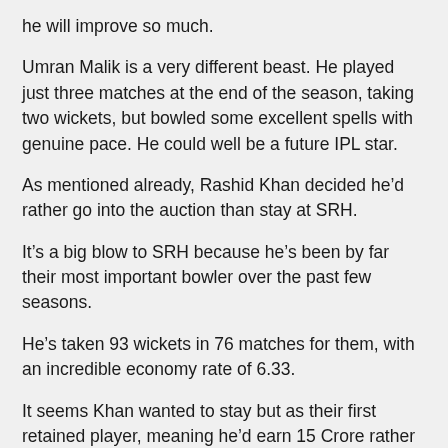he will improve so much.
Umran Malik is a very different beast. He played just three matches at the end of the season, taking two wickets, but bowled some excellent spells with genuine pace. He could well be a future IPL star.
As mentioned already, Rashid Khan decided he’d rather go into the auction than stay at SRH.
It’s a big blow to SRH because he’s been by far their most important bowler over the past few seasons.
He’s taken 93 wickets in 76 matches for them, with an incredible economy rate of 6.33.
It seems Khan wanted to stay but as their first retained player, meaning he’d earn 15 Crore rather than the 11 C RH were willing to pay as their second retained p
[Figure (logo): Telegram app icon — blue circle with white paper plane symbol]